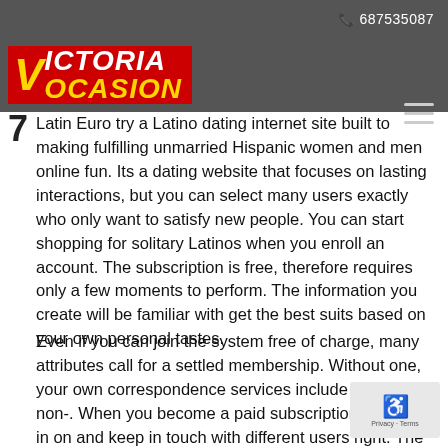📞 687535087
[Figure (logo): VictoriaOcasion logo — red background with yellow V and white VICTORIA, yellow OCASION text in italic bold style]
7 Latin Euro try a Latino dating internet site built to making fulfilling unmarried Hispanic women and men online fun. Its a dating website that focuses on lasting interactions, but you can select many users exactly who only want to satisfy new people. You can start shopping for solitary Latinos when you enroll an account. The subscription is free, therefore requires only a few moments to perform. The information you create will be familiar with get the best suits based on your own personal tastes.
Even if you can join the system free of charge, many attributes call for a settled membership. Without one, your own correspondence services include practically non-. When you become a paid subscription, you'll get in on and keep in touch with different users right. The profile high